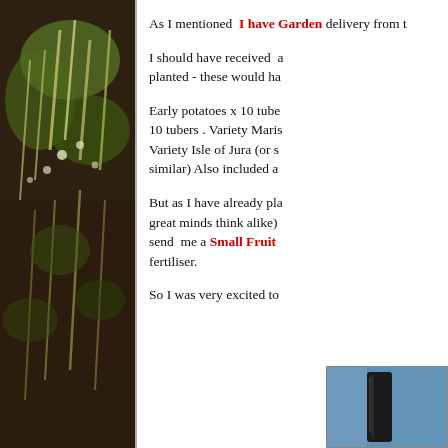[Figure (photo): Photograph of garden plants, appears to show potato or similar plants growing in soil, vertical strip on left side of page]
As I mentioned I have a Garden delivery from t...
I should have received a... planted - these would ha...
Early potatoes x 10 tube... 10 tubers . Variety Maris... Variety Isle of Jura (or s... similar) Also included a...
But as I have already pla... great minds think alike)... send me a Small Fruit... fertiliser.
So I was very excited to...
[Figure (photo): Small photograph in bottom right corner showing what appears to be a dark object against blue background]